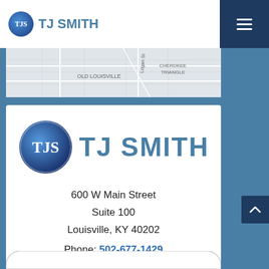TJS TJ SMITH
[Figure (map): Partial street map showing Old Louisville and Cherokee Triangle neighborhoods]
[Figure (logo): TJS TJ SMITH law firm logo — blue circle with TJS initials next to TJ SMITH text in blue]
600 W Main Street
Suite 100
Louisville, KY 40202
Phone: 502-677-1429